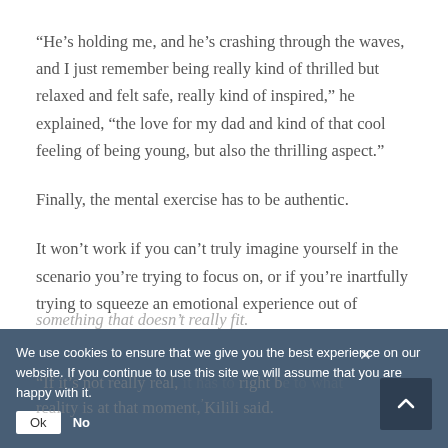“He’s holding me, and he’s crashing through the waves, and I just remember being really kind of thrilled but relaxed and felt safe, really kind of inspired,” he explained, “the love for my dad and kind of that cool feeling of being young, but also the thrilling aspect.”
Finally, the mental exercise has to be authentic.
It won’t work if you can’t truly imagine yourself in the scenario you’re trying to focus on, or if you’re inartfully trying to squeeze an emotional experience out of something that doesn’t really fit.
“If it’s not really real, it has to right be to what reality is at that moment,” Kilili said.